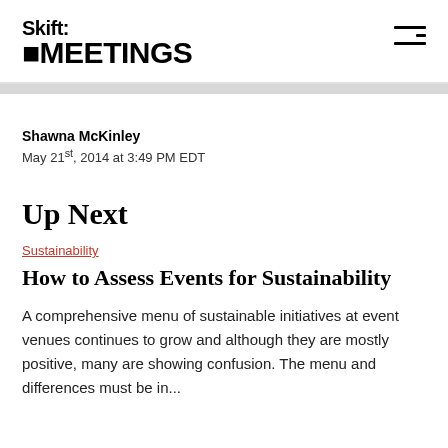Skift MEETINGS
Shawna McKinley
May 21st, 2014 at 3:49 PM EDT
Up Next
Sustainability
How to Assess Events for Sustainability
A comprehensive menu of sustainable initiatives at event venues continues to grow and although they are mostly positive, many are showing confusion. The menu and differences must be in...